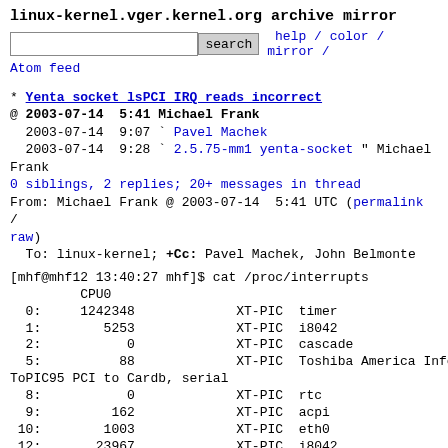linux-kernel.vger.kernel.org archive mirror
search  help / color / mirror / Atom feed
* Yenta socket lsPCI IRQ reads incorrect
@ 2003-07-14  5:41 Michael Frank
  2003-07-14  9:07 ` Pavel Machek
  2003-07-14  9:28 ` 2.5.75-mm1 yenta-socket " Michael Frank
  0 siblings, 2 replies; 20+ messages in thread
From: Michael Frank @ 2003-07-14  5:41 UTC (permalink / raw)
  To: linux-kernel; +Cc: Pavel Machek, John Belmonte
[mhf@mhf12 13:40:27 mhf]$ cat /proc/interrupts
         CPU0
  0:     1242348             XT-PIC  timer
  1:        5253             XT-PIC  i8042
  2:           0             XT-PIC  cascade
  5:          88             XT-PIC  Toshiba America Info ToPIC95 PCI to Cardb, serial
  8:           0             XT-PIC  rtc
  9:         162             XT-PIC  acpi
 10:        1003             XT-PIC  eth0
 12:       23967             XT-PIC  i8042
 14:        8698             XT-PIC  ide0
NMI:           0
LOC:           0
ERR:           5